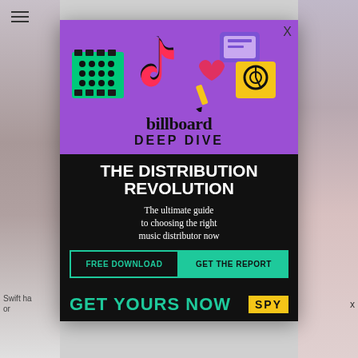[Figure (infographic): Billboard Deep Dive advertisement popup overlay. Shows colorful TikTok-themed icons on purple background, Billboard Deep Dive branding, black section with 'The Distribution Revolution' headline, subtitle text, green download buttons, and Get Yours Now CTA.]
billboard DEEP DIVE
THE DISTRIBUTION REVOLUTION
The ultimate guide to choosing the right music distributor now
FREE DOWNLOAD   GET THE REPORT
GET YOURS NOW
Swift ha... or
X